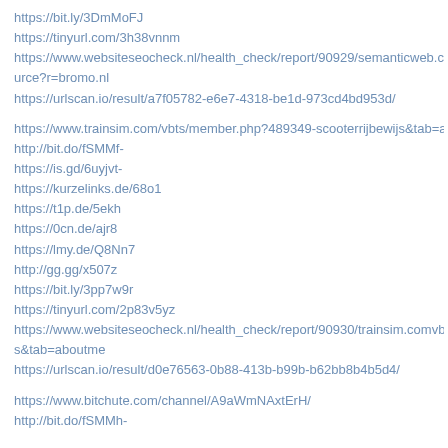https://bit.ly/3DmMoFJ
https://tinyurl.com/3h38vnnm
https://www.websiteseocheck.nl/health_check/report/90929/semanticweb.cs.vu.nlv urce?r=bromo.nl
https://urlscan.io/result/a7f05782-e6e7-4318-be1d-973cd4bd953d/
https://www.trainsim.com/vbts/member.php?489349-scooterrijbewijs&tab=aboutme
http://bit.do/fSMMf-
https://is.gd/6uyjvt-
https://kurzelinks.de/68o1
https://t1p.de/5ekh
https://0cn.de/ajr8
https://lmy.de/Q8Nn7
http://gg.gg/x507z
https://bit.ly/3pp7w9r
https://tinyurl.com/2p83v5yz
https://www.websiteseocheck.nl/health_check/report/90930/trainsim.comvbtsmemb s&tab=aboutme
https://urlscan.io/result/d0e76563-0b88-413b-b99b-b62bb8b4b5d4/
https://www.bitchute.com/channel/A9aWmNAxtErH/
http://bit.do/fSMMh-